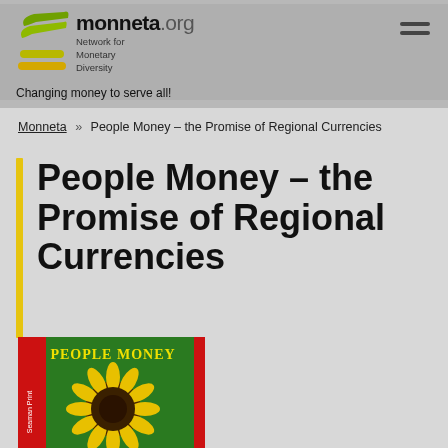monneta.org Network for Monetary Diversity – Changing money to serve all!
Monneta » People Money – the Promise of Regional Currencies
People Money – the Promise of Regional Currencies
[Figure (photo): Book cover of 'People Money' featuring a sunflower on a red and green background]